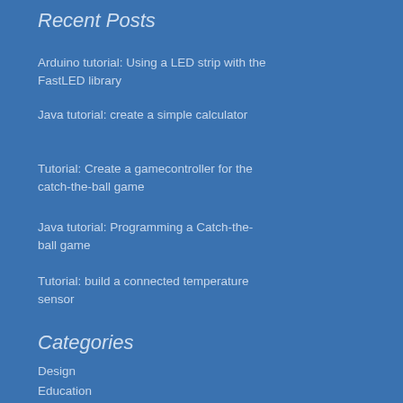Recent Posts
Arduino tutorial: Using a LED strip with the FastLED library
Java tutorial: create a simple calculator
Tutorial: Create a gamecontroller for the catch-the-ball game
Java tutorial: Programming a Catch-the-ball game
Tutorial: build a connected temperature sensor
Categories
Design
Education